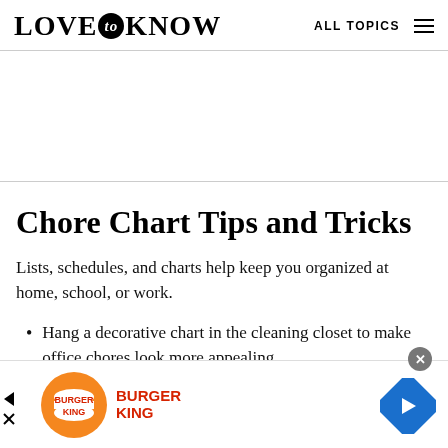LOVE to KNOW  ALL TOPICS
Chore Chart Tips and Tricks
Lists, schedules, and charts help keep you organized at home, school, or work.
Hang a decorative chart in the cleaning closet to make office chores look more appealing.
[Figure (other): Burger King advertisement banner at bottom of page with logo, navigation arrows and close button]